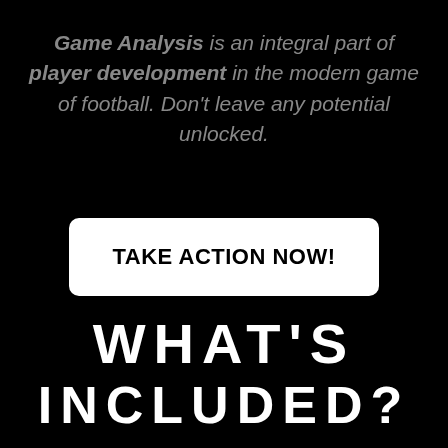Game Analysis is an integral part of player development in the modern game of football. Don't leave any pote...ed.
[Figure (other): White rounded rectangle call-to-action button with text TAKE ACTION NOW! in bold black on black background]
WHAT'S INCLUDED?